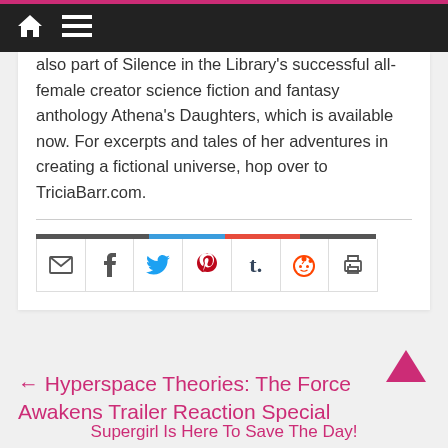Navigation bar with home and menu icons
also part of Silence in the Library's successful all-female creator science fiction and fantasy anthology Athena's Daughters, which is available now. For excerpts and tales of her adventures in creating a fictional universe, hop over to TriciaBarr.com.
[Figure (infographic): Social share bar with icons: email, facebook, twitter, pinterest, tumblr, reddit, print]
← Hyperspace Theories: The Force Awakens Trailer Reaction Special
Supergirl Is Here To Save The Day!